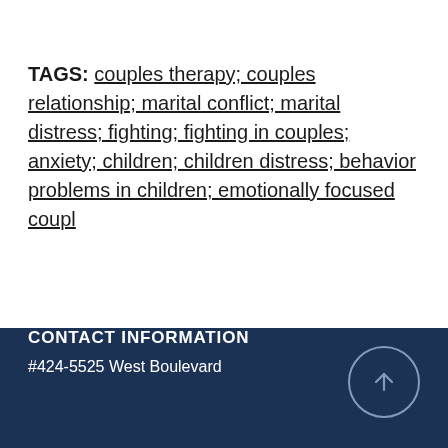TAGS: couples therapy; couples relationship; marital conflict; marital distress; fighting; fighting in couples; anxiety; children; children distress; behavior problems in children; emotionally focused coupl
CONTACT INFORMATION
#424-5525 West Boulevard